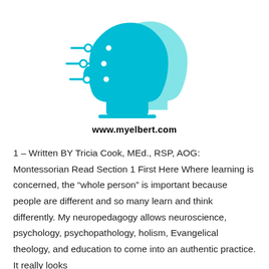[Figure (logo): Teal/cyan stylized human head profile with circuit-like lines extending horizontally to the left, representing a brain/technology concept. Two overlapping head silhouettes in teal gradient.]
www.myelbert.com
1 – Written BY Tricia Cook, MEd., RSP, AOG: Montessorian Read Section 1 First Here Where learning is concerned, the “whole person” is important because people are different and so many learn and think differently. My neuropedagogy allows neuroscience, psychology, psychopathology, holism, Evangelical theology, and education to come into an authentic practice. It really looks